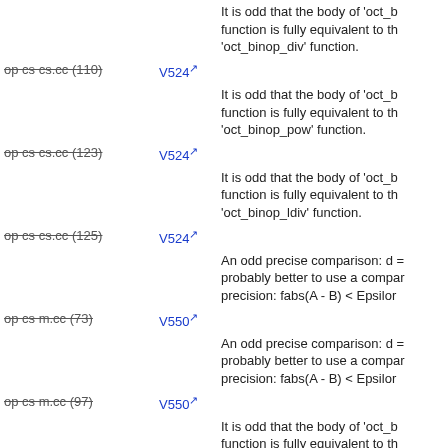op cs cs.cc (110) | V524 | It is odd that the body of 'oct_b function is fully equivalent to the 'oct_binop_div' function.
op cs cs.cc (123) | V524 | It is odd that the body of 'oct_b function is fully equivalent to the 'oct_binop_pow' function.
op cs cs.cc (125) | V524 | It is odd that the body of 'oct_b function is fully equivalent to the 'oct_binop_ldiv' function.
op cs m.cc (73) | V550 | An odd precise comparison: d = probably better to use a comparison with defined precision: fabs(A - B) < Epsilon
op cs m.cc (97) | V550 | An odd precise comparison: d = probably better to use a comparison with defined precision: fabs(A - B) < Epsilon
op cs m.cc (86) | V524 | It is odd that the body of 'oct_b function is fully equivalent to the 'oct_binop_mul' function.
op cs m.cc (90) | V524 | It is odd that the body of 'oct_b function is fully equivalent to the 'oct_binop_ldiv' function.
op cs s.cc (51) | V550 | An odd precise comparison: d = probably better to use a comparison with defined precision: fabs(A - B) < Epsilon